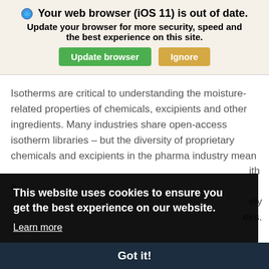Your web browser (iOS 11) is out of date. Update your browser for more security, speed and the best experience on this site. Update browser | Ignore
Isotherms are critical to understanding the moisture-related properties of chemicals, excipients and other ingredients. Many industries share open-access isotherm libraries – but the diversity of proprietary chemicals and excipients in the pharma industry mean ...ith a ...ely ...eks.
This website uses cookies to ensure you get the best experience on our website. Learn more
Got it!